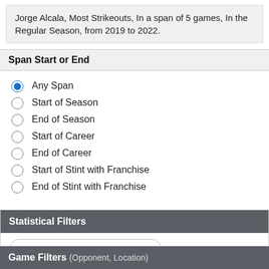Jorge Alcala, Most Strikeouts, In a span of 5 games, In the Regular Season, from 2019 to 2022.
Span Start or End
Any Span (selected)
Start of Season
End of Season
Start of Career
End of Career
Start of Stint with Franchise
End of Stint with Franchise
Statistical Filters
Choose a Statistical Filter
Player Filters (Team, Age, etc...)
Choose a Player Filter
Game Filters (Opponent, Location)